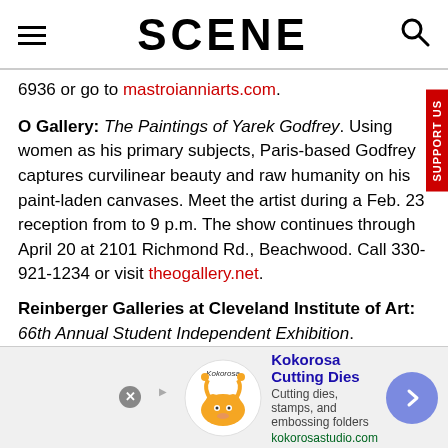SCENE
6936 or go to mastroianniarts.com.
O Gallery: The Paintings of Yarek Godfrey. Using women as his primary subjects, Paris-based Godfrey captures curvilinear beauty and raw humanity on his paint-laden canvases. Meet the artist during a Feb. 23 reception from to 9 p.m. The show continues through April 20 at 2101 Richmond Rd., Beachwood. Call 330-921-1234 or visit theogallery.net.
Reinberger Galleries at Cleveland Institute of Art: 66th Annual Student Independent Exhibition. Organized and
[Figure (advertisement): Kokorosa Cutting Dies advertisement with logo, tagline 'Cutting dies, stamps, and embossing folders', url kokorosastudio.com, and a navigation arrow button.]